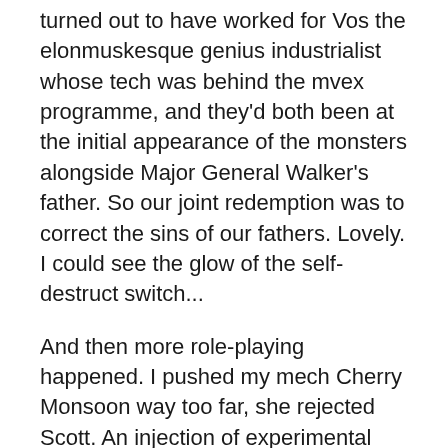turned out to have worked for Vos the elonmuskesque genius industrialist whose tech was behind the mvex programme, and they'd both been at the initial appearance of the monsters alongside Major General Walker's father. So our joint redemption was to correct the sins of our fathers. Lovely. I could see the glow of the self-destruct switch...
And then more role-playing happened. I pushed my mech Cherry Monsoon way too far, she rejected Scott. An injection of experimental nanites got me integrated with her again, and from then Scott was much more concerned with the wellbeing of my beautiful red machine than any actual mission. Those nanites turned out to be killing me too, and Scott ended the event hands clasped with Walker, who was dying of